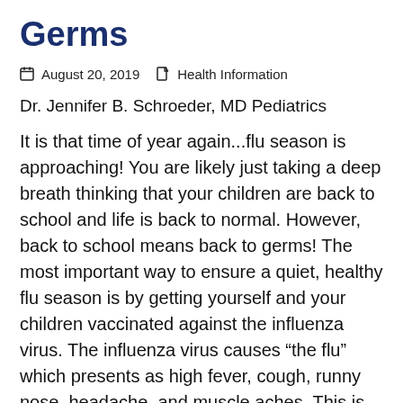Germs
August 20, 2019   Health Information
Dr. Jennifer B. Schroeder, MD Pediatrics
It is that time of year again...flu season is approaching! You are likely just taking a deep breath thinking that your children are back to school and life is back to normal. However, back to school means back to germs! The most important way to ensure a quiet, healthy flu season is by getting yourself and your children vaccinated against the influenza virus. The influenza virus causes “the flu” which presents as high fever, cough, runny nose, headache, and muscle aches. This is distinctly